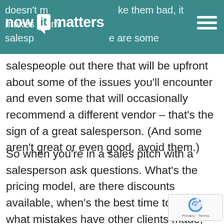now it matters
doesn't make them bad, it makes them salesp... there are some salespeople out there that will be upfront about some of the issues you'll encounter and even some that will occasionally recommend a different vendor – that's the sign of a great salesperson. (And some aren't great or even good, avoid them.)
So when you're in a sales pitch with a salesperson ask questions. What's the pricing model, are there discounts available, when's the best time to buy, what mistakes have other clients made, ask for a list of successful clients, ask how licenses are